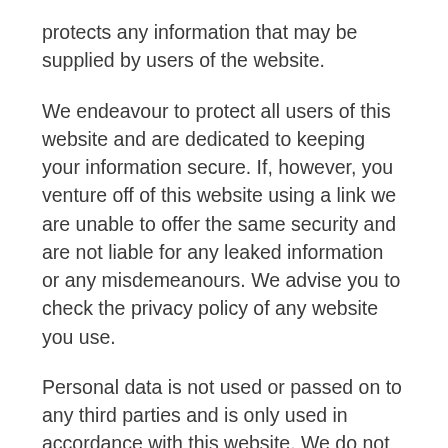protects any information that may be supplied by users of the website.
We endeavour to protect all users of this website and are dedicated to keeping your information secure. If, however, you venture off of this website using a link we are unable to offer the same security and are not liable for any leaked information or any misdemeanours. We advise you to check the privacy policy of any website you use.
Personal data is not used or passed on to any third parties and is only used in accordance with this website. We do not sell on any data to third parties and are committed to ensuring your privacy is protected. We will not sell, distribute or lease your information to anyone without prior permission unless we are required to do so by law.